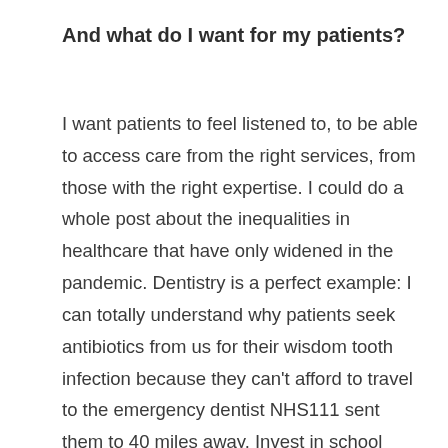And what do I want for my patients?
I want patients to feel listened to, to be able to access care from the right services, from those with the right expertise. I could do a whole post about the inequalities in healthcare that have only widened in the pandemic. Dentistry is a perfect example: I can totally understand why patients seek antibiotics from us for their wisdom tooth infection because they can't afford to travel to the emergency dentist NHS111 sent them to 40 miles away. Invest in school health, social care, public health, dentistry and this will have